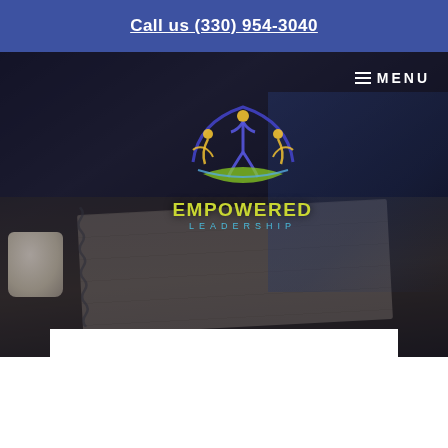Call us (330) 954-3040
[Figure (screenshot): Hero background image showing a person writing in a notebook at a desk, with coffee mug, in a dark-tinted office scene. Empowered Leadership logo overlaid on the left side. Menu button (hamburger + MENU text) in top right corner.]
Find your